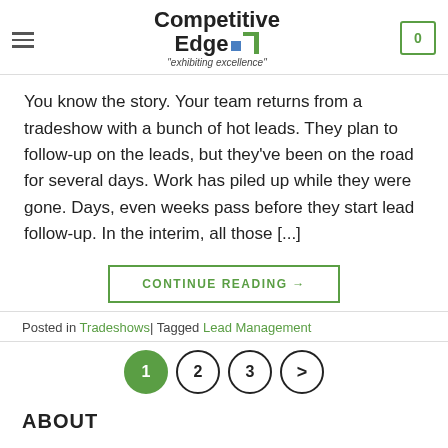[Figure (logo): Competitive Edge logo with green icon and tagline 'exhibiting excellence']
You know the story. Your team returns from a tradeshow with a bunch of hot leads. They plan to follow-up on the leads, but they've been on the road for several days. Work has piled up while they were gone. Days, even weeks pass before they start lead follow-up. In the interim, all those [...]
CONTINUE READING →
Posted in Tradeshows| Tagged Lead Management
1 2 3 >
ABOUT